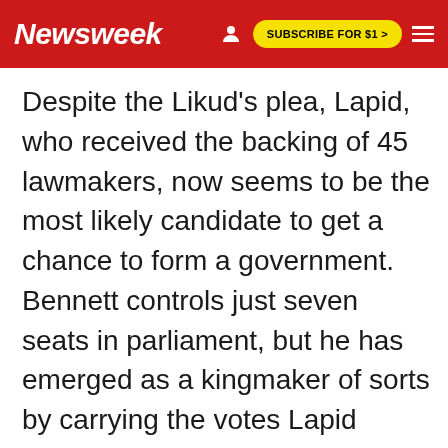Newsweek  SUBSCRIBE FOR $1 >
Despite the Likud's plea, Lapid, who received the backing of 45 lawmakers, now seems to be the most likely candidate to get a chance to form a government. Bennett controls just seven seats in parliament, but he has emerged as a kingmaker of sorts by carrying the votes Lapid would need to secure a parliamentary majority.